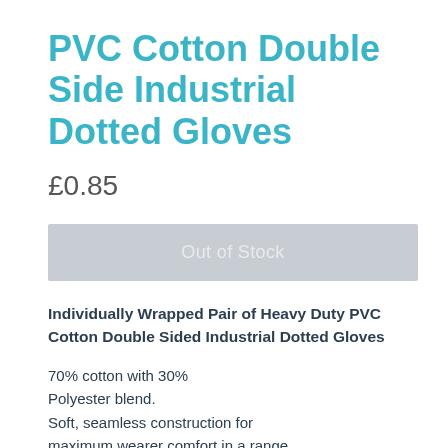PVC Cotton Double Side Industrial Dotted Gloves
£0.85
Out of Stock
Individually Wrapped Pair of Heavy Duty PVC Cotton Double Sided Industrial Dotted Gloves
70% cotton with 30% Polyester blend.
Soft, seamless construction for maximum wearer comfort in a range of sizes to ensure a secure custom